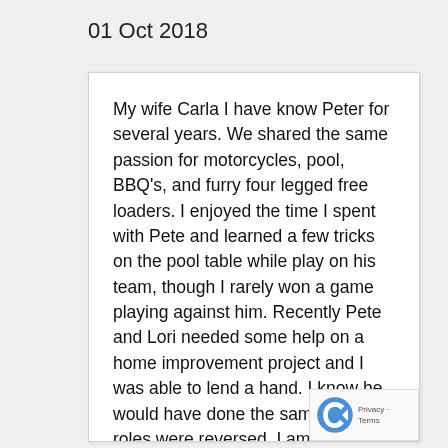01 Oct 2018
My wife Carla I have know Peter for several years. We shared the same passion for motorcycles, pool, BBQ's, and furry four legged free loaders. I enjoyed the time I spent with Pete and learned a few tricks on the pool table while play on his team, though I rarely won a game playing against him. Recently Pete and Lori needed some help on a home improvement project and I was able to lend a hand. I know he would have done the same if the roles were reversed. I am going to miss his wit and contagious energy. I will miss having dinners and f… conversations. I will miss hearing "Hey